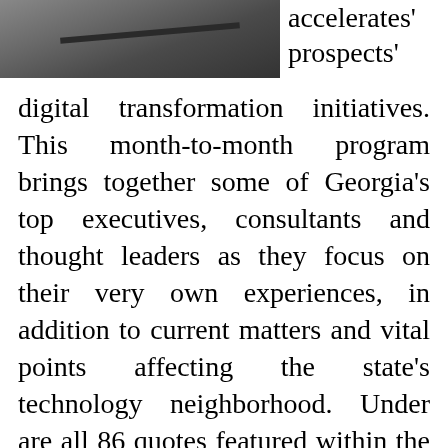[Figure (photo): Partial photo of a person or object, cropped at top-left of page]
accelerates' prospects' digital transformation initiatives. This month-to-month program brings together some of Georgia's top executives, consultants and thought leaders as they focus on their very own experiences, in addition to current matters and vital points affecting the state's technology neighborhood. Under are all 86 quotes featured within the recreation (together with the six technologies from the Past the Sword expansion pack: Advanced Flight, Aesthetics, Laser, Army Science, Stealth, and Superconductor).